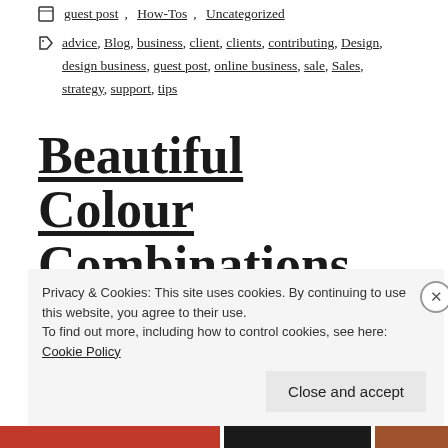guest post, How-Tos, Uncategorized
advice, Blog, business, client, clients, contributing, Design, design business, guest post, online business, sale, Sales, strategy, support, tips
Beautiful Colour Combinations
Privacy & Cookies: This site uses cookies. By continuing to use this website, you agree to their use.
To find out more, including how to control cookies, see here: Cookie Policy